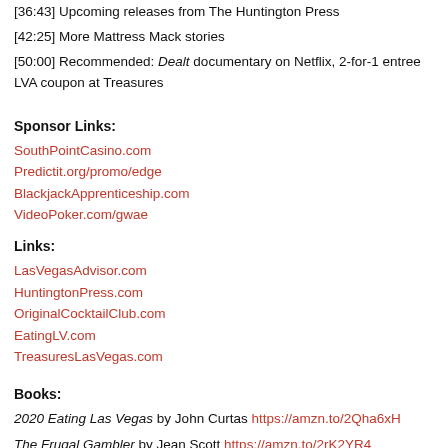[36:43]  Upcoming releases from The Huntington Press
[42:25]  More Mattress Mack stories
[50:00]  Recommended:  Dealt documentary on Netflix, 2-for-1 entree LVA coupon at Treasures
Sponsor Links:
SouthPointCasino.com
Predictit.org/promo/edge
BlackjackApprenticeship.com
VideoPoker.com/gwae
Links:
LasVegasAdvisor.com
HuntingtonPress.com
OriginalCocktailClub.com
EatingLV.com
TreasuresLasVegas.com
Books:
2020 Eating Las Vegas by John Curtas https://amzn.to/2Qha6xH
The Frugal Gambler by Jean Scott https://amzn.to/2rK2YR4
Kill Phil by Blair Rodman and Lee Nelson https://amzn.to/2MOo7AO